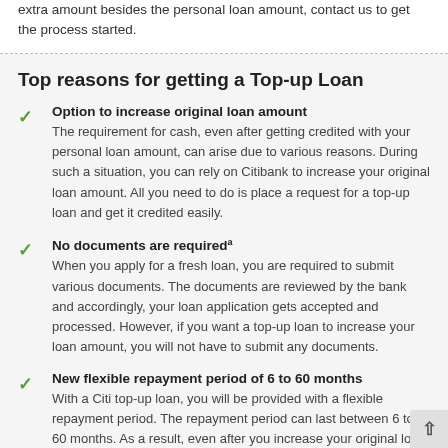extra amount besides the personal loan amount, contact us to get the process started.
Top reasons for getting a Top-up Loan
Option to increase original loan amount
The requirement for cash, even after getting credited with your personal loan amount, can arise due to various reasons. During such a situation, you can rely on Citibank to increase your original loan amount. All you need to do is place a request for a top-up loan and get it credited easily.
No documents are required
When you apply for a fresh loan, you are required to submit various documents. The documents are reviewed by the bank and accordingly, your loan application gets accepted and processed. However, if you want a top-up loan to increase your loan amount, you will not have to submit any documents.
New flexible repayment period of 6 to 60 months
With a Citi top-up loan, you will be provided with a flexible repayment period. The repayment period can last between 6 to 60 months. As a result, even after you increase your original loan amount with a top-up loan amount, you won't have to face any difficulty in repaying it.
HK$0 handling fee